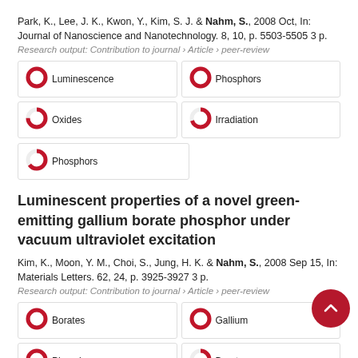Park, K., Lee, J. K., Kwon, Y., Kim, S. J. & Nahm, S., 2008 Oct, In: Journal of Nanoscience and Nanotechnology. 8, 10, p. 5503-5505 3 p.
Research output: Contribution to journal › Article › peer-review
[Figure (infographic): Five keyword badge items arranged in a 2-column grid: Luminescence (100%), Phosphors (100%), Oxides (75%), Irradiation (70%), Phosphors (65%)]
Luminescent properties of a novel green-emitting gallium borate phosphor under vacuum ultraviolet excitation
Kim, K., Moon, Y. M., Choi, S., Jung, H. K. & Nahm, S., 2008 Sep 15, In: Materials Letters. 62, 24, p. 3925-3927 3 p.
Research output: Contribution to journal › Article › peer-review
[Figure (infographic): Four keyword badge items arranged in a 2-column grid: Borates (100%), Gallium (100%), Phosphors (100%), Borates (70%). A circular scroll-up button is overlaid at bottom right.]